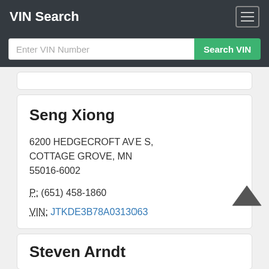VIN Search
Enter VIN Number / Search VIN
Seng Xiong
6200 HEDGECROFT AVE S, COTTAGE GROVE, MN 55016-6002
P: (651) 458-1860
VIN: JTKDE3B78A0313063
Steven Arndt